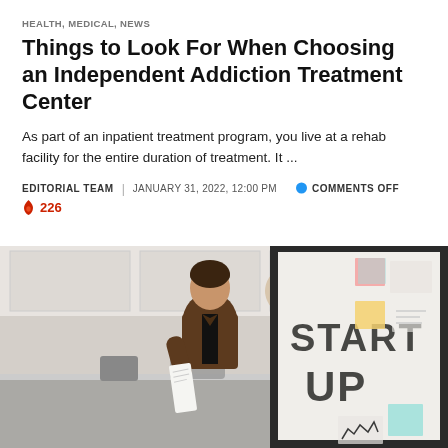HEALTH, MEDICAL, NEWS
Things to Look For When Choosing an Independent Addiction Treatment Center
As part of an inpatient treatment program, you live at a rehab facility for the entire duration of treatment. It ...
EDITORIAL TEAM | JANUARY 31, 2022, 12:00 PM  💬 COMMENTS OFF  🔥 226
[Figure (photo): Young man in a brown leather jacket standing in a modern office/kitchen, holding a paper, next to a whiteboard that reads START UP with sticky notes.]